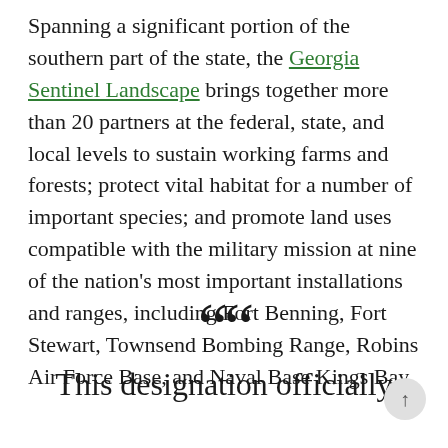Spanning a significant portion of the southern part of the state, the Georgia Sentinel Landscape brings together more than 20 partners at the federal, state, and local levels to sustain working farms and forests; protect vital habitat for a number of important species; and promote land uses compatible with the military mission at nine of the nation's most important installations and ranges, including Fort Benning, Fort Stewart, Townsend Bombing Range, Robins Air Force Base, and Naval Base Kings Bay.
““ This designation officially